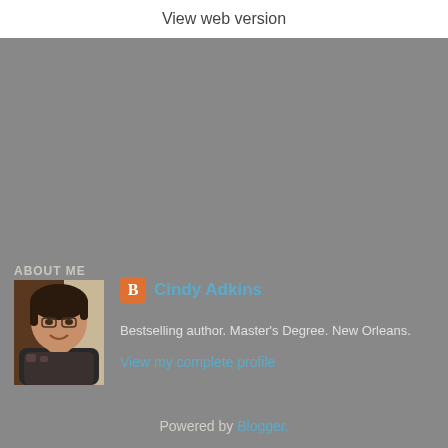View web version
ABOUT ME
[Figure (photo): Profile photo of Cindy Adkins, a woman with short dark hair, smiling, wearing a dark jacket]
Cindy Adkins
Bestselling author. Master's Degree. New Orleans.
View my complete profile
Powered by Blogger.